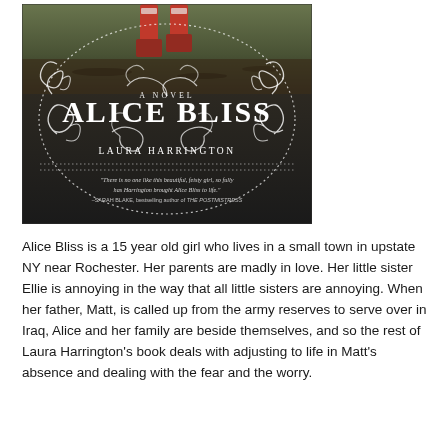[Figure (illustration): Book cover of 'Alice Bliss' by Laura Harrington. Dark background with decorative white swirl/flourishes. Large white text reads 'ALICE BLISS' in the center, 'A NOVEL' above it in smaller text, 'LAURA HARRINGTON' below the title. A quote at the bottom: 'There is no one like this beautiful, feisty girl, so fully has Harrington brought Alice Bliss to life.' -SARAH BLAKE, bestselling author of THE POSTMISTRESS. The top portion shows a partial image of a person's red boots/legs in the air over what appears to be a garden or field.]
Alice Bliss is a 15 year old girl who lives in a small town in upstate NY near Rochester. Her parents are madly in love. Her little sister Ellie is annoying in the way that all little sisters are annoying. When her father, Matt, is called up from the army reserves to serve over in Iraq, Alice and her family are beside themselves, and so the rest of Laura Harrington's book deals with adjusting to life in Matt's absence and dealing with the fear and the worry.